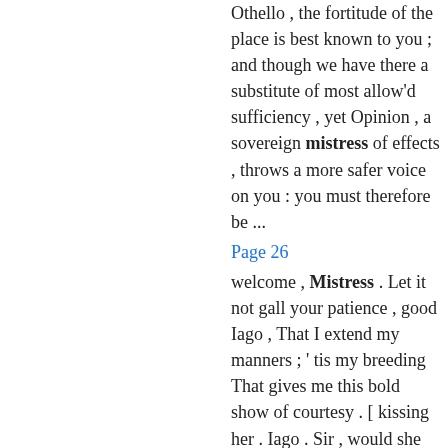Othello , the fortitude of the place is best known to you ; and though we have there a substitute of most allow'd sufficiency , yet Opinion , a sovereign mistress of effects , throws a more safer voice on you : you must therefore be ...
Page 26
welcome , Mistress . Let it not gall your patience , good Iago , That I extend my manners ; ' tis my breeding That gives me this bold show of courtesy . [ kissing her . Iago . Sir , would she give you so much of her lips As of her ...
Page 33
If I can fasten but one cup upon him , With that